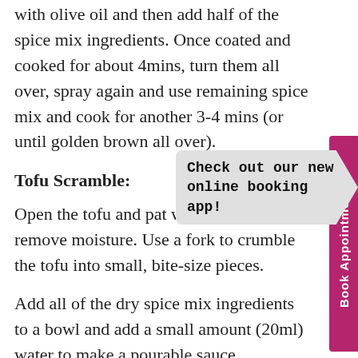with olive oil and then add half of the spice mix ingredients. Once coated and cooked for about 4mins, turn them all over, spray again and use remaining spice mix and cook for another 3-4 mins (or until golden brown all over).
Tofu Scramble:
Open the tofu and pat with kitchen roll to remove moisture. Use a fork to crumble the tofu into small, bite-size pieces.
Add all of the dry spice mix ingredients to a bowl and add a small amount (20ml) water to make a pourable sauce.
[Figure (other): A tooltip/callout bubble shaped like a speech bubble pointing right, containing the text 'Check out our new online booking app!' in bold monospace font on a light grey background.]
[Figure (other): A vertical pink/magenta tab on the right side of the page with rotated text reading 'Book Appointments' in white bold font.]